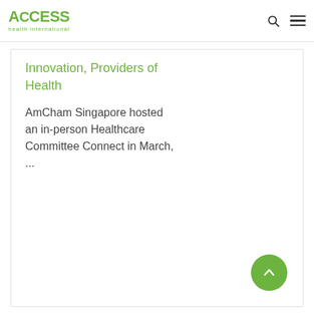ACCESS health international
Innovation, Providers of Health
AmCham Singapore hosted an in-person Healthcare Committee Connect in March, ...